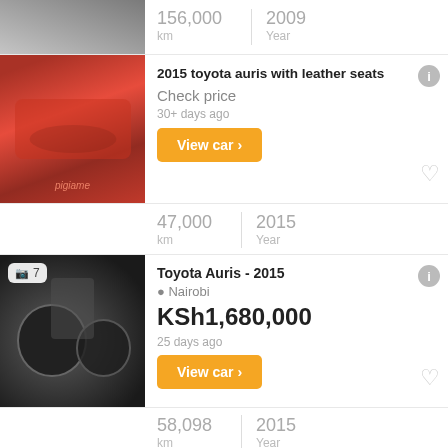[Figure (photo): Partial car interior image at top, showing seat/door panel area]
156,000 km  |  2009 Year
[Figure (photo): Red Toyota Auris engine bay with pigiame watermark]
2015 toyota auris with leather seats
Check price
30+ days ago
View car >
47,000 km  |  2015 Year
[Figure (photo): Toyota Auris dashboard/instrument cluster, 7 photos badge]
Toyota Auris - 2015
Nairobi
KSh1,680,000
25 days ago
View car >
58,098 km  |  2015 Year
[Figure (photo): Exterior photo of Toyota Auris, 7 photos badge]
Toyota Auris - 2015
Nairobi